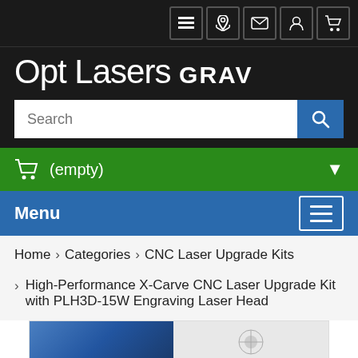[Figure (screenshot): Top navigation bar with menu, phone, email, account, and cart icons on dark background]
Opt Lasers GRAV
[Figure (screenshot): Search bar with white input field and blue search button]
[Figure (screenshot): Green shopping cart bar showing (empty) with dropdown arrow]
[Figure (screenshot): Blue Menu bar with hamburger icon button]
Home > Categories > CNC Laser Upgrade Kits
> High-Performance X-Carve CNC Laser Upgrade Kit with PLH3D-15W Engraving Laser Head
[Figure (photo): Partial product image showing laser head equipment]